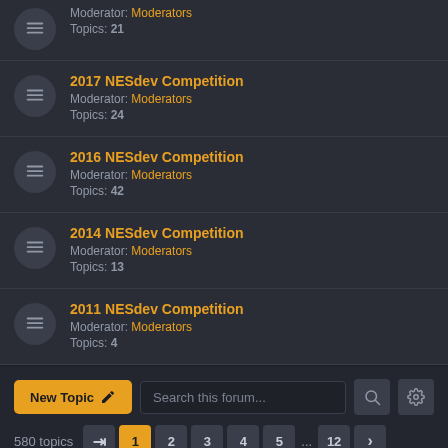2017 NESdev Competition
Moderator: Moderators
Topics: 24
2016 NESdev Competition
Moderator: Moderators
Topics: 42
2014 NESdev Competition
Moderator: Moderators
Topics: 13
2011 NESdev Competition
Moderator: Moderators
Topics: 4
New Topic  Search this forum...
580 topics  1  2  3  4  5  ...  12
Topics
Timer Alarm
Last post by Movax12 » Sat Aug 20, 2022 9:15 am